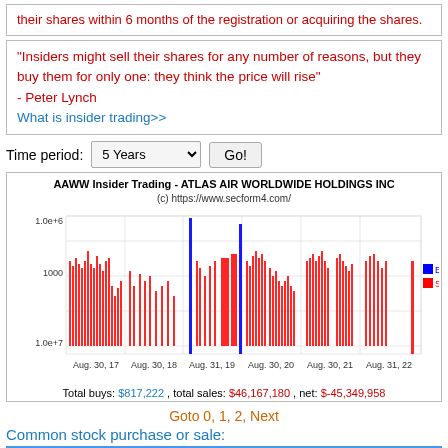insiders are prohibited from making short-swing profits by trading their shares within 6 months of the registration or acquiring the shares.
"Insiders might sell their shares for any number of reasons, but they buy them for only one: they think the price will rise" - Peter Lynch
What is insider trading>>
Time period: 5 Years  Go!
[Figure (bar-chart): Bar chart showing insider buy (blue) and sell (red) trading activity for AAWW from Aug 2017 to Aug 2022. Mostly red (sell) bars with occasional blue (buy) spikes.]
Total buys: $817,222 , total sales: $46,167,180 , net: $-45,349,958
Goto 0, 1, 2, Next
Common stock purchase or sale: